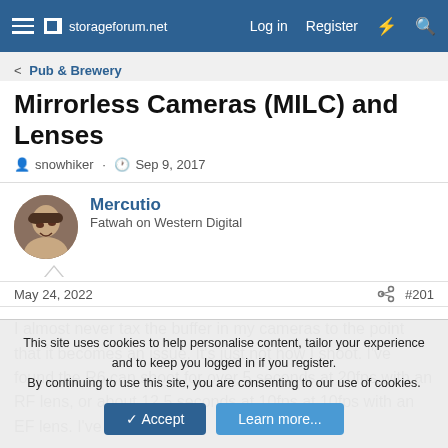storageforum.net  Log in  Register
< Pub & Brewery
Mirrorless Cameras (MILC) and Lenses
snowhiker · Sep 9, 2017
Mercutio
Fatwah on Western Digital
May 24, 2022  #201
I almost never tax the buffer in my cameras to the point that it becomes an issue. It's just not how I shoot. I've found the R6 can shoot for over 5 seconds at 20fps with an RF lens, or about 12.5 seconds at 10fps at 10fps with an EF lens. I've been able
This site uses cookies to help personalise content, tailor your experience and to keep you logged in if you register.
By continuing to use this site, you are consenting to our use of cookies.